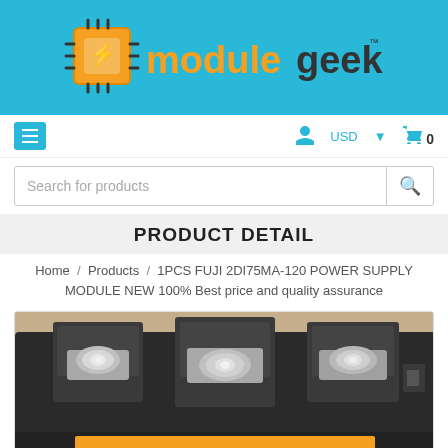[Figure (logo): ModuleGeek logo with orange circuit chip icon and text 'modulegeek' on blue background]
≡   person icon   USD ▼   🛒 0
Search for products
PRODUCT DETAIL
Home / Products / 1PCS FUJI 2DI75MA-120 POWER SUPPLY MODULE NEW 100% Best price and quality assurance
[Figure (photo): Close-up photo of a Fuji 2DI75MA-120 power supply module showing three large silver terminal bolts on a black housing, with an orange component visible at the bottom]